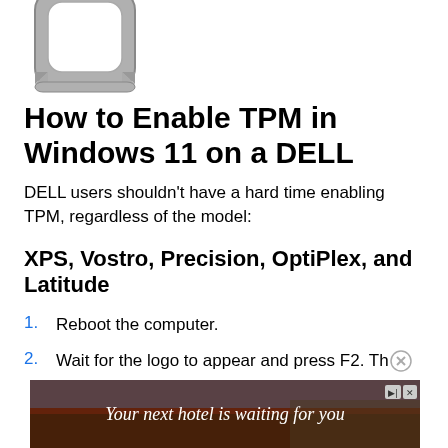[Figure (illustration): Rounded square / keyboard key icon in grey tones, partially cropped at top]
How to Enable TPM in Windows 11 on a DELL
DELL users shouldn't have a hard time enabling TPM, regardless of the model:
XPS, Vostro, Precision, OptiPlex, and Latitude
Reboot the computer.
Wait for the logo to appear and press F2. Th…
[Figure (advertisement): Ad banner: dark red background with landscape photo overlay, text 'Your next hotel is waiting for you' in white italic, with close and control buttons]